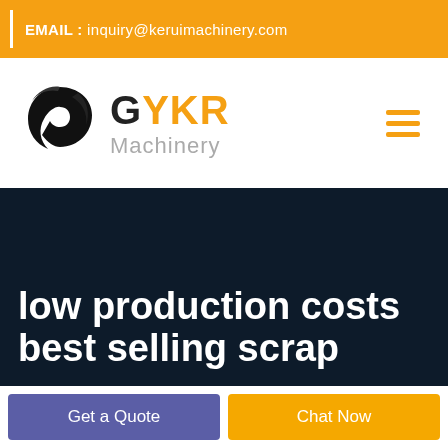EMAIL : inquiry@keruimachinery.com
[Figure (logo): GYKR Machinery logo with circular black swoosh icon and orange GYKR text with grey Machinery text below]
low production costs best selling scrap
Get a Quote
Chat Now